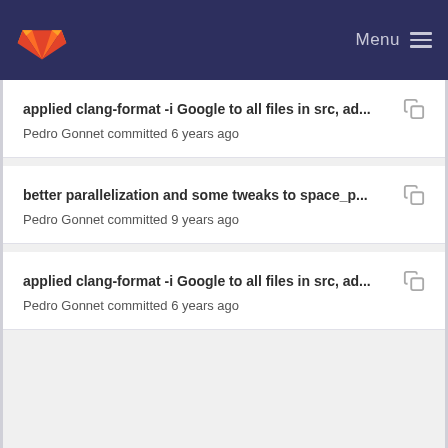GitLab — Menu
applied clang-format -i Google to all files in src, ad... Pedro Gonnet committed 6 years ago
better parallelization and some tweaks to space_p... Pedro Gonnet committed 9 years ago
applied clang-format -i Google to all files in src, ad... Pedro Gonnet committed 6 years ago